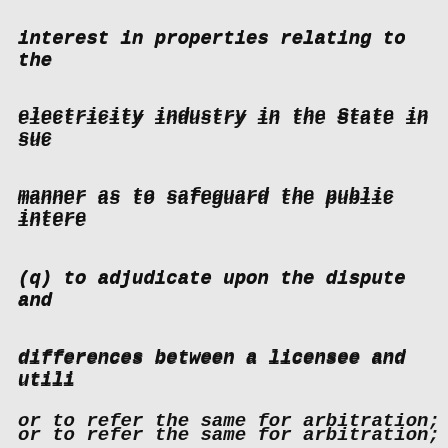interest in properties relating to the electricity industry in the State in such manner as to safeguard the public interest
(q) to adjudicate upon the dispute and differences between a licensee and utility or to refer the same for arbitration;
15
(r) to co-ordinate with environmental